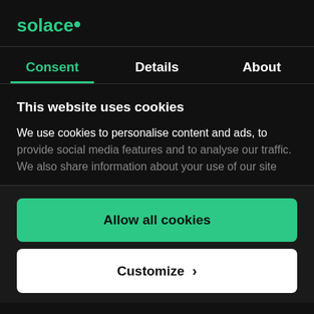[Figure (logo): Solace logo with green text and dot]
Consent | Details | About
This website uses cookies
We use cookies to personalise content and ads, to provide social media features and to analyse our traffic. We also share information about your use of our site
Allow all cookies
Customize >
Powered by Cookiebot by Usercentrics
APIs & Protocols